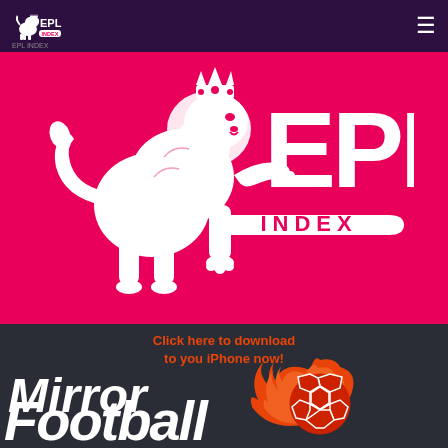EPL Index
[Figure (logo): EPL Index logo — white heraldic lion rampant beside large white letters EPL and a banner reading INDEX, on a crimson/magenta background]
[Figure (illustration): Mirror Football app promotion banner — dark background with orange text 'Click here to download to you iPhone now!' and large white bold italic text 'Mirror Football' with a flaming soccer ball graphic in orange and red]